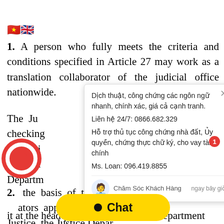1. A person who fully meets the criteria and conditions specified in Article 27 may work as a translation collaborator of the judicial office nationwide.
The Ju[stice Department is responsible for] checking[,] translati[ng,] translati[ng for the] Departm[ent]
[Figure (screenshot): Popup overlay with Vietnamese text advertising translation and notarization services. Text includes: 'Dịch thuật, công chứng các ngôn ngữ nhanh, chính xác, giá cả cạnh tranh. Liên hệ 24/7: 0866.682.329. Hỗ trợ thủ tục công chứng nhà đất, Ủy quyền, chứng thực chữ ký, cho vay tài chính. Ms. Loan: 096.419.8855'. Footer shows: 'Chăm Sóc Khách Hàng' and 'ngay bây giờ' with an avatar icon.]
2. [On] the basis of the list of translation collaborators approved by the Department [of] Justice, the Justice Depar[tment shall post] it at the headquarters of the Justice Department
[Figure (logo): Red circular logo/icon in bottom left corner]
[Figure (infographic): Yellow Chat button with bullet dot icon and bold 'Chat' text, with red notification badge showing '1']